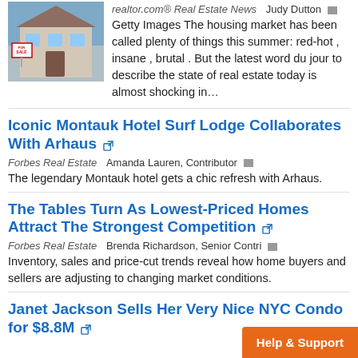Housing Market That Will Shock Buyers and Sellers
[Figure (photo): Photo of a house with a For Sale sign in front, real estate listing image]
realtor.com® Real Estate News   Judy Dutton   Getty Images The housing market has been called plenty of things this summer: red-hot , insane , brutal . But the latest word du jour to describe the state of real estate today is almost shocking in…
Iconic Montauk Hotel Surf Lodge Collaborates With Arhaus
Forbes Real Estate   Amanda Lauren, Contributor   The legendary Montauk hotel gets a chic refresh with Arhaus.
The Tables Turn As Lowest-Priced Homes Attract The Strongest Competition
Forbes Real Estate   Brenda Richardson, Senior Contri   Inventory, sales and price-cut trends reveal how home buyers and sellers are adjusting to changing market conditions.
Janet Jackson Sells Her Very Nice NYC Condo for $8.8M